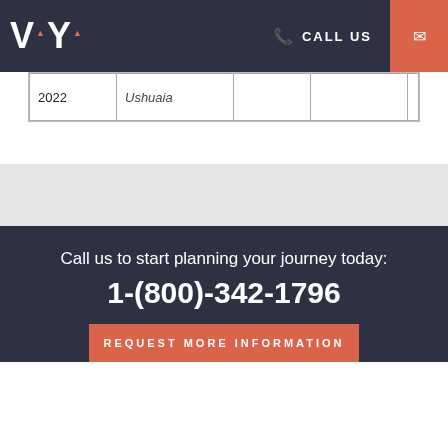VAYA  CALL US
| 2022 | Ushuaia |  |  |  |
Call us to start planning your journey today:
1-(800)-342-1796
REQUEST MORE INFORMATION